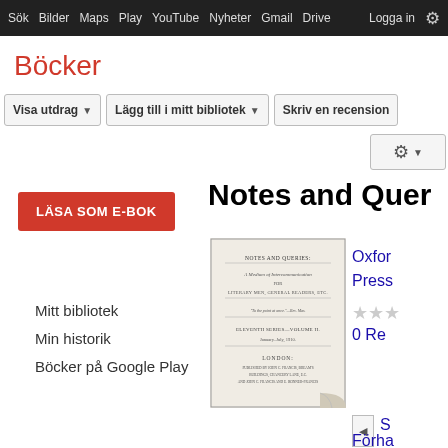Sök  Bilder  Maps  Play  YouTube  Nyheter  Gmail  Drive  Logga in
Böcker
Visa utdrag
Lägg till i mitt bibliotek
Skriv en recension
LÄSA SOM E-BOK
Notes and Quer
[Figure (illustration): Book cover image of 'Notes and Queries' showing title page with text 'NOTES AND QUERIES: A Medium of Intercommunication for Literary Men, General Readers, etc. ELEVENTH SERIES—VOLUME II. January–July, 1910. LONDON']
Oxfor
Press
0 Re
Mitt bibliotek
Min historik
Böcker på Google Play
S
Förha